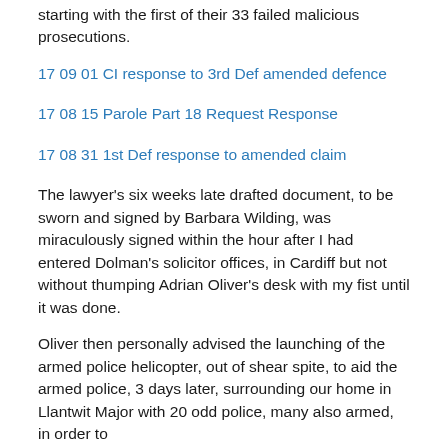starting with the first of their 33 failed malicious prosecutions.
17 09 01 CI response to 3rd Def amended defence
17 08 15 Parole Part 18 Request Response
17 08 31 1st Def response to amended claim
The lawyer's six weeks late drafted document, to be sworn and signed by Barbara Wilding, was miraculously signed within the hour after I had entered Dolman's solicitor offices, in Cardiff but not without thumping Adrian Oliver's desk with my fist until it was done.
Oliver then personally advised the launching of the armed police helicopter, out of shear spite, to aid the armed police, 3 days later, surrounding our home in Llantwit Major with 20 odd police, many also armed, in order to